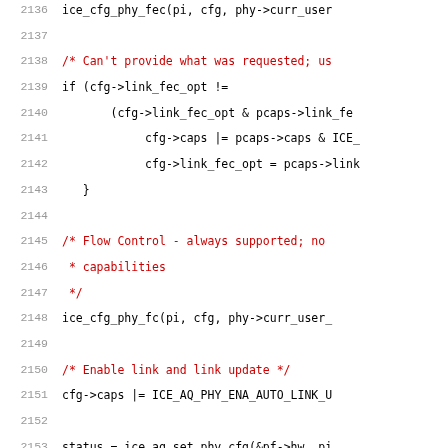[Figure (screenshot): Source code listing (C language) showing lines 2136–2157 of a Linux kernel driver file, with line numbers in grey on the left and code syntax-highlighted in black, red, and green on a white background.]